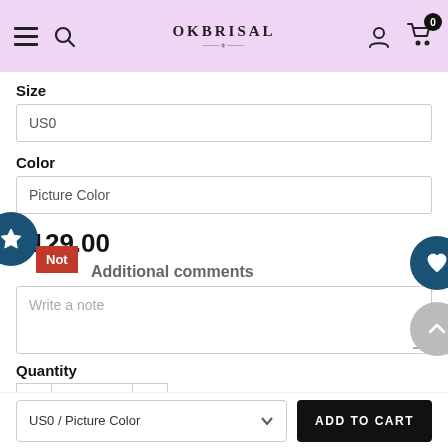OkBrisal
Size
US0
Color
Picture Color
$129.00
Not
Additional comments
Write a note
Quantity
US0 / Picture Color
ADD TO CART